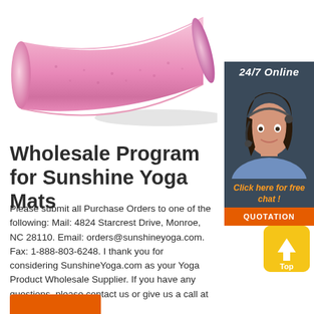[Figure (photo): Pink foam roller / yoga cylindrical roller on white background, shown diagonally]
[Figure (infographic): Dark blue sidebar panel with '24/7 Online' header, headset woman agent photo, 'Click here for free chat!' text in orange, and orange QUOTATION button]
Wholesale Program for Sunshine Yoga Mats
Please submit all Purchase Orders to one of the following: Mail: 4824 Starcrest Drive, Monroe, NC 28110. Email: orders@sunshineyoga.com. Fax: 1-888-803-6248. I thank you for considering SunshineYoga.com as your Yoga Product Wholesale Supplier. If you have any questions, please contact us or give us a call at 1-800-316-0806.
[Figure (other): Orange button at bottom left (partially visible)]
[Figure (other): Yellow 'Top' button on right side]